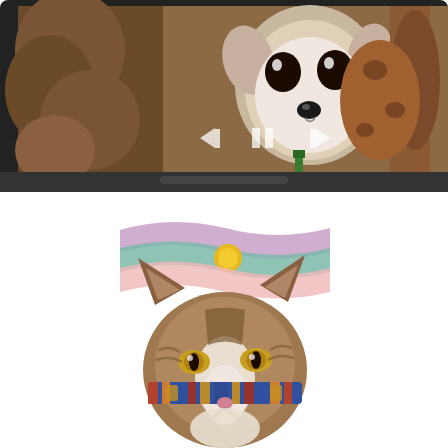[Figure (photo): A photo of a small white chihuahua dog with big dark eyes peeking out from between brown furry objects, displayed on a dark screen/monitor with media player controls (back arrow, pause, forward arrow) overlaid at the bottom center of the image.]
[Figure (illustration): A watercolor illustration of a tabby cat's face wearing a colorful striped collar/scarf, with abstract wavy bands of color (purple, teal, pink) and a golden sun circle in the background above the cat's head.]